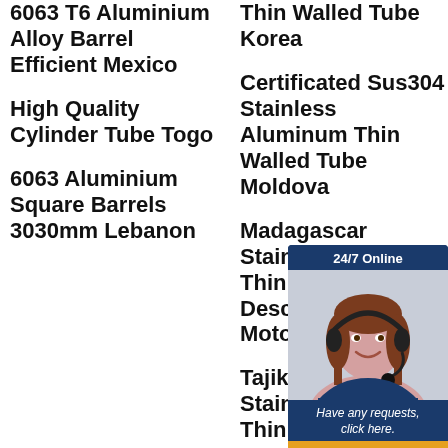6063 T6 Aluminium Alloy Barrel Efficient Mexico
High Quality Cylinder Tube Togo
6063 Aluminium Square Barrels 3030mm Lebanon
Thin Walled Tube Korea
Certificated Sus304 Stainless Aluminum Thin Walled Tube Moldova
Madagascar Stainless A Thin Walled Description Motorcycle
Tajikistan S Stainless A Thin Walle Car
Professional Sus316
[Figure (illustration): Customer service chat widget overlay with 24/7 Online label, a photo of a woman with a headset smiling, text 'Have any requests, click here.' and a Quotation button]